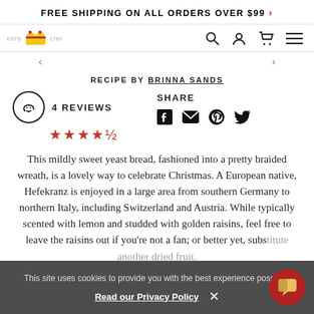FREE SHIPPING ON ALL ORDERS OVER $99 >
[Figure (logo): King Arthur Baking Company logo with ESTD 1790 text]
RECIPE BY BRINNA SANDS
4 REVIEWS ★★★★½
SHARE
This mildly sweet yeast bread, fashioned into a pretty braided wreath, is a lovely way to celebrate Christmas. A European native, Hefekranz is enjoyed in a large area from southern Germany to northern Italy, including Switzerland and Austria. While typically scented with lemon and studded with golden raisins, feel free to leave the raisins out if you're not a fan; or better yet, substitute another dried fruit.
This site uses cookies to provide you with the best experience possible.
Read our Privacy Policy